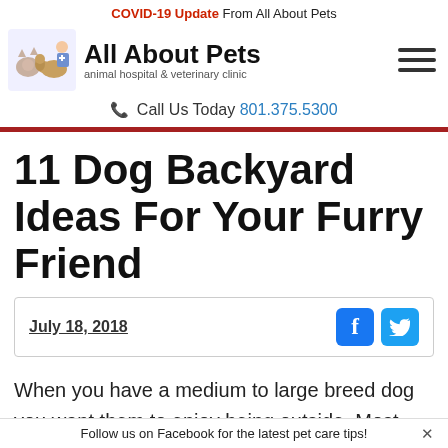COVID-19 Update From All About Pets
[Figure (logo): All About Pets animal hospital & veterinary clinic logo with cartoon animals]
All About Pets — animal hospital & veterinary clinic
Call Us Today 801.375.5300
11 Dog Backyard Ideas For Your Furry Friend
July 18, 2018
When you have a medium to large breed dog you want them to enjoy being outside. Most breeds it's in their instincts to explore and exercise
Follow us on Facebook for the latest pet care tips!